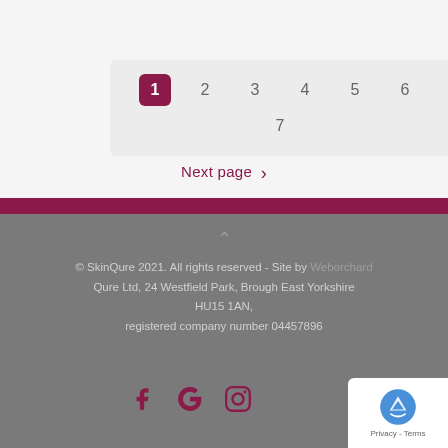[Figure (other): Pagination widget showing 7 pages, page 1 active (dark maroon button), pages 2-7 as plain numbers in a light gray box]
Next page ›
© SkinQure 2021. All rights reserved - Site by Weborchard
Qure Ltd, 24 Westfield Park, Brough East Yorkshire HU15 1AN,
registered company number 04457896